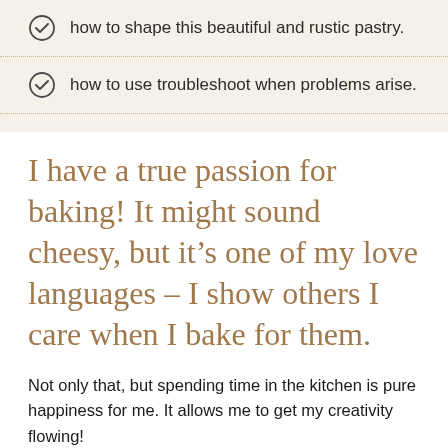how to shape this beautiful and rustic pastry.
how to use troubleshoot when problems arise.
I have a true passion for baking! It might sound cheesy, but it’s one of my love languages – I show others I care when I bake for them.
Not only that, but spending time in the kitchen is pure happiness for me. It allows me to get my creativity flowing!